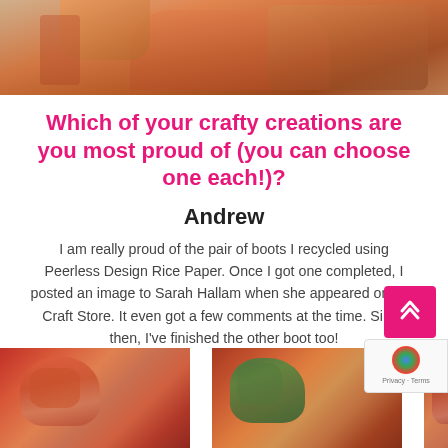[Figure (photo): Cropped photo of two people, one wearing an orange top and a lanyard, at what appears to be a craft event]
Which of your crafty creations are you most proud of (you can choose one each!)?
Andrew
I am really proud of the pair of boots I recycled using Peerless Design Rice Paper. Once I got one completed, I posted an image to Sarah Hallam when she appeared on The Craft Store. It even got a few comments at the time. Since then, I’ve finished the other boot too!
[Figure (photo): Three photos of decorated boots/shoes with artistic designs using rice paper decoupage]